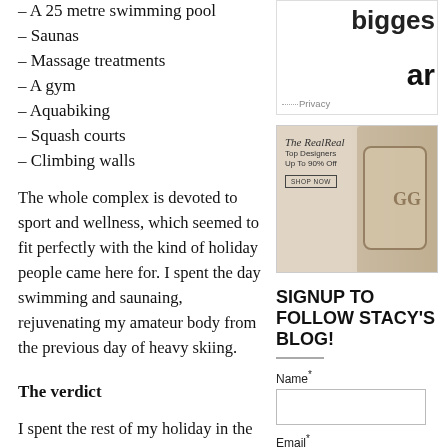– A 25 metre swimming pool
– Saunas
– Massage treatments
– A gym
– Aquabiking
– Squash courts
– Climbing walls
The whole complex is devoted to sport and wellness, which seemed to fit perfectly with the kind of holiday people came here for. I spent the day swimming and saunaing, rejuvenating my amateur body from the previous day of heavy skiing.
The verdict
I spent the rest of my holiday in the
[Figure (screenshot): Advertisement banner showing 'bigges' text and 'am' text with Privacy label]
[Figure (photo): The RealReal advertisement showing luxury handbag with 'Top Designers Up To 90% Off SHOP NOW' text]
SIGNUP TO FOLLOW STACY'S BLOG!
Name*
Email*